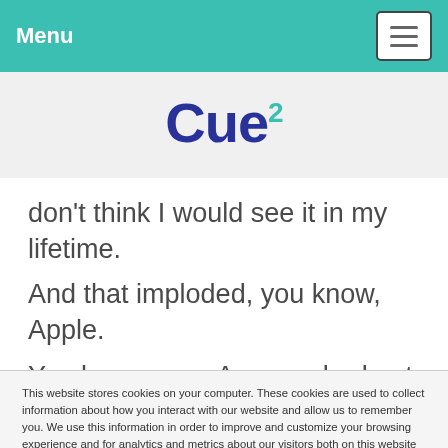Menu
[Figure (logo): Cue2 logo with dark blue 'Cue' text and teal superscript '2']
don't think I would see it in my lifetime. And that imploded, you know, Apple. You know even Amazon had not really
This website stores cookies on your computer. These cookies are used to collect information about how you interact with our website and allow us to remember you. We use this information in order to improve and customize your browsing experience and for analytics and metrics about our visitors both on this website and other media. To find out more about the cookies we use, see our Privacy Policy.
Accept